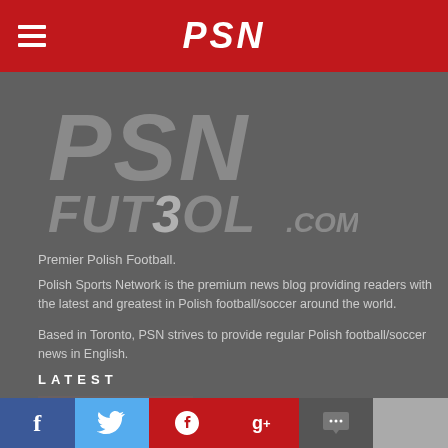PSN
[Figure (logo): PSN Futbol.com logo in grey italic bold lettering on dark background]
Premier Polish Football.
Polish Sports Network is the premium news blog providing readers with the latest and greatest in Polish football/soccer around the world.
Based in Toronto, PSN strives to provide regular Polish football/soccer news in English.
LATEST
[Figure (photo): Football/soccer match action photo showing players on the field]
PKO Ekstraklasa Matchday 5: Legia Defeat Widzew in Klasyk Polski